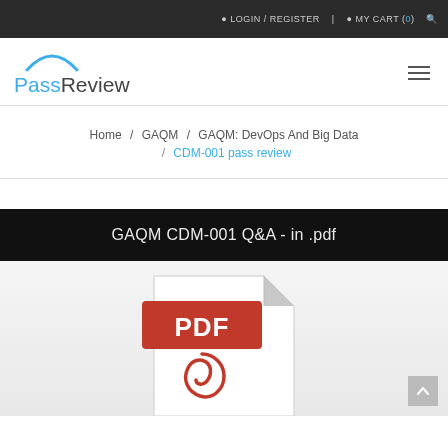LOGIN / REGISTER  |  MY CART (0)
[Figure (logo): PassReview logo with blue arc above text. 'Pass' in blue, 'Review' in dark gray.]
Home / GAQM / GAQM: DevOps And Big Data / CDM-001 pass review
GAQM CDM-001 Q&A - in .pdf
[Figure (illustration): PDF file icon with red label 'PDF' and red Acrobat swirl symbol on a white document with folded corner.]